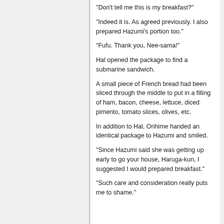"Don't tell me this is my breakfast?"
"Indeed it is. As agreed previously. I also prepared Hazumi's portion too."
"Fufu. Thank you, Nee-sama!"
Hal opened the package to find a submarine sandwich.
A small piece of French bread had been sliced through the middle to put in a filling of ham, bacon, cheese, lettuce, diced pimento, tomato slices, olives, etc.
In addition to Hal, Orihime handed an identical package to Hazumi and smiled.
"Since Hazumi said she was getting up early to go your house, Haruga-kun, I suggested I would prepared breakfast."
"Such care and consideration really puts me to shame."